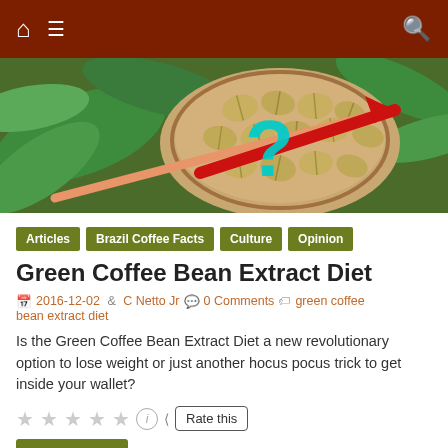Navigation bar with home, menu, and search icons
[Figure (photo): Hero image of green coffee beans in a bowl with a large cyan question mark and a red arrow pointing right, overlaid on a background of green coffee plant leaves]
Articles  Brazil Coffee Facts  Culture  Opinion
Green Coffee Bean Extract Diet
2016-12-02  C Netto Jr  0 Comments  green coffee bean extract diet
Is the Green Coffee Bean Extract Diet a new revolutionary option to lose weight or just another hocus pocus trick to get inside your wallet?
Rate this
Read more